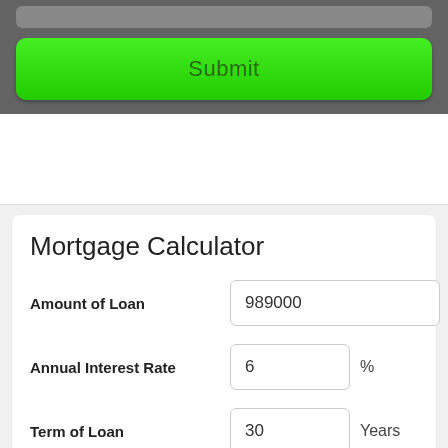[Figure (screenshot): Top dark gray panel with a green Submit button]
Submit
Mortgage Calculator
Amount of Loan
989000
Annual Interest Rate
6
%
Term of Loan
30
Years
Calculate